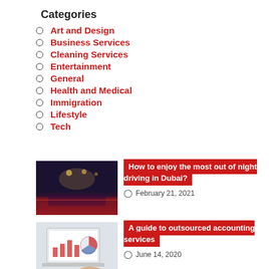Categories
Art and Design
Business Services
Cleaning Services
Entertainment
General
Health and Medical
Immigration
Lifestyle
Tech
[Figure (photo): Night driving view from inside a car in Dubai, city lights visible through windshield]
How to enjoy the most out of night driving in Dubai?
February 21, 2021
[Figure (photo): Person working on a laptop showing charts and graphs, accounting concept]
A guide to outsourced accounting services
June 14, 2020